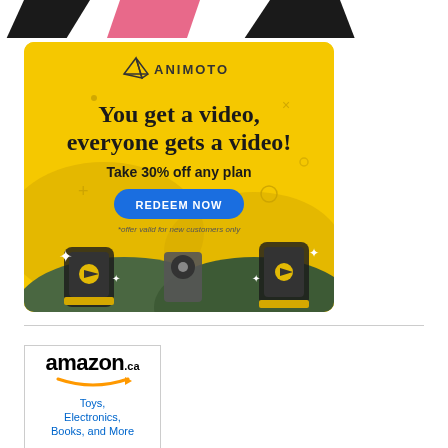[Figure (illustration): Top decorative strip with abstract black, pink, and white geometric/paper shapes on white background]
[Figure (infographic): Animoto advertisement with yellow background. Logo at top with triangular paper airplane icon and ANIMOTO text. Large bold text: 'You get a video, everyone gets a video!' Below: 'Take 30% off any plan'. Blue oval button with 'REDEEM NOW'. Small text: '*offer valid for new customers only'. Bottom shows illustrated hands holding phone, film reel, and money/phone with sparkles and green hill shapes.]
[Figure (logo): Amazon.ca advertisement showing amazon.ca logo with orange arrow smile, and text 'Toys, Electronics, Books, and More' in blue text]